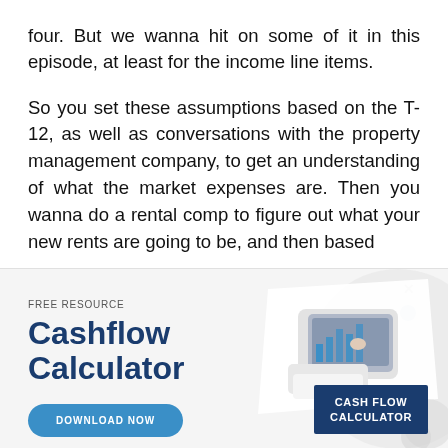four. But we wanna hit on some of it in this episode, at least for the income line items.
So you set these assumptions based on the T-12, as well as conversations with the property management company, to get an understanding of what the market expenses are. Then you wanna do a rental comp to figure out what your new rents are going to be, and then based
[Figure (infographic): Advertisement banner for a free resource called 'Cashflow Calculator'. Left side shows 'FREE RESOURCE' label, large bold title 'Cashflow Calculator', and a 'DOWNLOAD NOW' button in blue. Right side shows a photo of hands using a tablet/calculator with bar charts visible, and a dark blue card in the bottom right corner labeled 'CASH FLOW CALCULATOR'. An X close button and blue dot are in the upper right.]